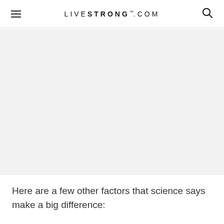LIVESTRONG.COM
[Figure (photo): Large image placeholder area with light gray background]
Here are a few other factors that science says make a big difference: